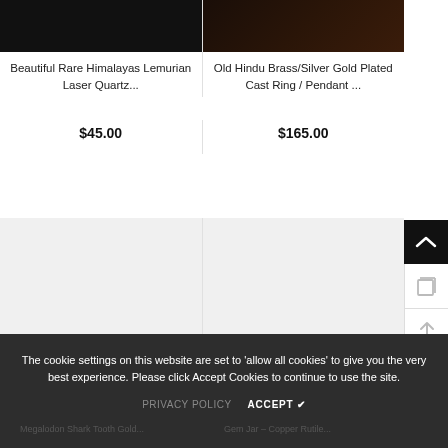[Figure (photo): Dark background product image for Himalayas Lemurian Laser Quartz]
[Figure (photo): Dark brown background product image for Hindu Brass/Silver Gold Plated Cast Ring]
Beautiful Rare Himalayas Lemurian Laser Quartz...
$45.00
Old Hindu Brass/Silver Gold Plated Cast Ring / Pendant ...
$165.00
[Figure (photo): Light gray placeholder product image]
[Figure (photo): Light gray placeholder product image]
The cookie settings on this website are set to 'allow all cookies' to give you the very best experience. Please click Accept Cookies to continue to use the site.
PRIVACY POLICY
ACCEPT ✔
Megalodon Shark Tooth Gold...
Gem Jar – Copper Rutile...